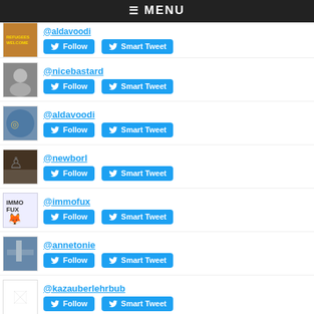≡ MENU
@nicebastard
@aldavoodi
@newborl
@immofux
@annetonie
@kazauberlehrbub
@blumi147